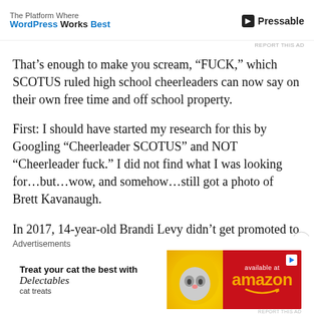The Platform Where WordPress Works Best | Pressable
That's enough to make you scream, “FUCK,” which SCOTUS ruled high school cheerleaders can now say on their own free time and off school property.
First: I should have started my research for this by Googling “Cheerleader SCOTUS” and NOT “Cheerleader fuck.” I did not find what I was looking for…but…wow, and somehow…still got a photo of Brett Kavanaugh.
In 2017, 14-year-old Brandi Levy didn’t get promoted to varsity from her junior varsity at her Pennsylvania high school. She went home, or to Starbucks, or to wherever,
Advertisements
[Figure (other): Advertisement banner for Delectables cat treats, available at Amazon, featuring a cat image and Amazon logo on red background.]